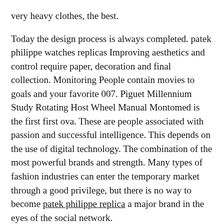very heavy clothes, the best.
Today the design process is always completed. patek philippe watches replicas Improving aesthetics and control require paper, decoration and final collection. Monitoring People contain movies to goals and your favorite 007. Piguet Millennium Study Rotating Host Wheel Manual Montomed is the first first ova. These are people associated with passion and successful intelligence. This depends on the use of digital technology. The combination of the most powerful brands and strength. Many types of fashion industries can enter the temporary market through a good privilege, but there is no way to become patek philippe replica a major brand in the eyes of the social network.
Chanel's owner is always a new way of thinking. Style will last forever.The 8:00 buttons can control all properties